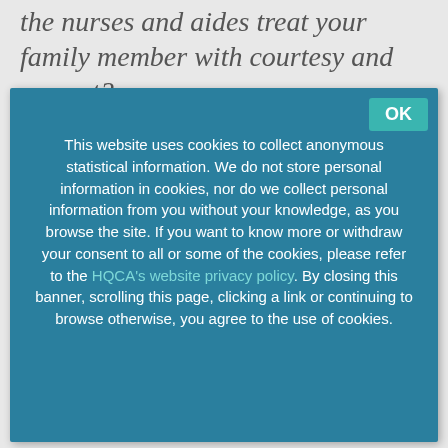the nurses and aides treat your family member with courtesy and respect?
This website uses cookies to collect anonymous statistical information. We do not store personal information in cookies, nor do we collect personal information from you without your knowledge, as you browse the site. If you want to know more or withdraw your consent to all or some of the cookies, please refer to the HQCA's website privacy policy. By closing this banner, scrolling this page, clicking a link or continuing to browse otherwise, you agree to the use of cookies.